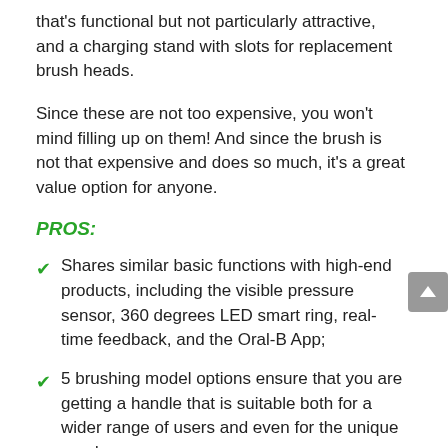that's functional but not particularly attractive, and a charging stand with slots for replacement brush heads.
Since these are not too expensive, you won't mind filling up on them! And since the brush is not that expensive and does so much, it's a great value option for anyone.
PROS:
Shares similar basic functions with high-end products, including the visible pressure sensor, 360 degrees LED smart ring, real-time feedback, and the Oral-B App;
5 brushing model options ensure that you are getting a handle that is suitable both for a wider range of users and even for the unique needs;